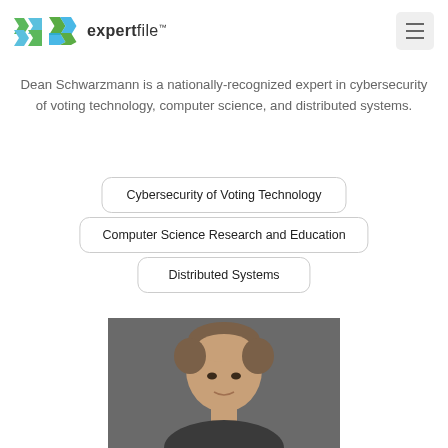expertfile™
Dean Schwarzmann is a nationally-recognized expert in cybersecurity of voting technology, computer science, and distributed systems.
Cybersecurity of Voting Technology
Computer Science Research and Education
Distributed Systems
[Figure (photo): Headshot photo of Dean Schwarzmann against a gray background]